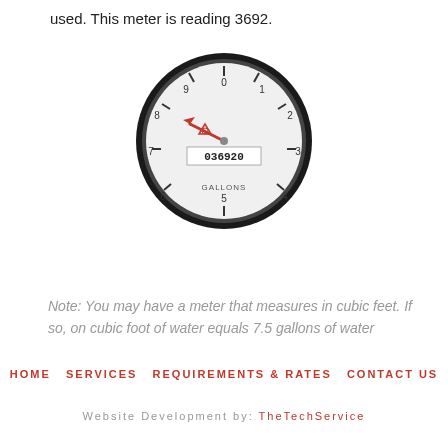used. This meter is reading 3692.
[Figure (photo): A circular water meter gauge with a white face showing the reading 036920 in gallons. The face has tick marks numbered 0-9 around the dial, a red pointer needle, a red triangle symbol, and the label GALLONS at the bottom.]
Note: You may have a meter that measures in cubic feet. If so, on cubic foot of water equals 7.5 gallons of water
HOME   SERVICES   REQUIREMENTS & RATES   CONTACT US
Website Development by: TheTechService